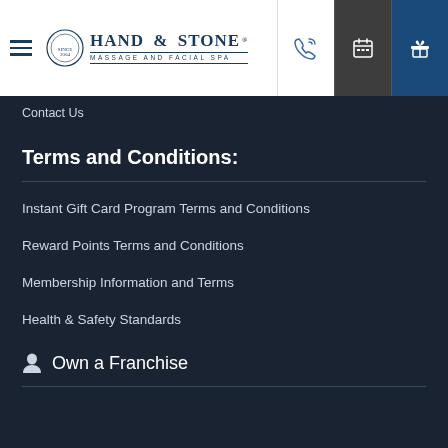Hand & Stone Massage and Facial Spa
Contact Us
Terms and Conditions:
Instant Gift Card Program Terms and Conditions
Reward Points Terms and Conditions
Membership Information and Terms
Health & Safety Standards
Own a Franchise